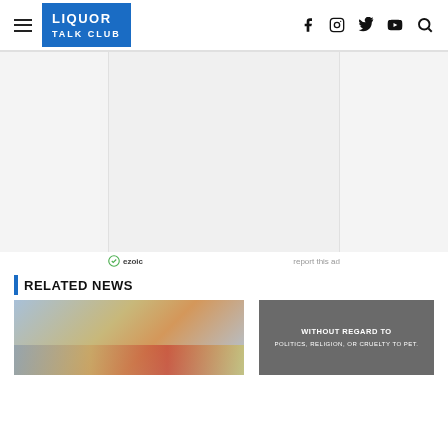Liquor Talk Club
[Figure (other): Advertisement placeholder (gray area)]
ezoic   report this ad
RELATED NEWS
[Figure (photo): Cargo airplane on tarmac with freight being loaded, Southwest Airlines livery visible, overlay text: WITHOUT REGARD TO POLITICS, RELIGION, OR CRUELTY TO PET.]